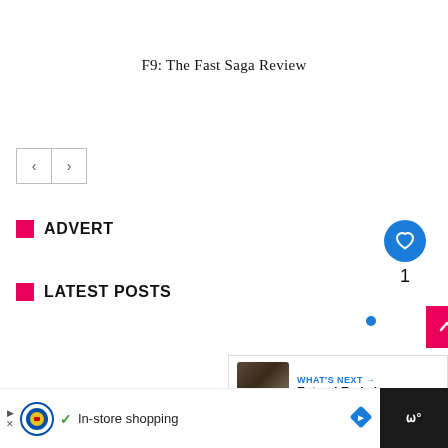F9: The Fast Saga Review
[Figure (screenshot): Navigation arrows: left chevron button and right chevron button]
ADVERT
[Figure (screenshot): Heart/like button (blue circle with white heart icon), count of 1, scroll-to-top button (pink/magenta square with up arrow), blue dot indicator]
LATEST POSTS
[Figure (screenshot): What's Next panel with thumbnail of crowd image and text: WHAT'S NEXT → Extras! Early buzz on...]
[Figure (screenshot): Bottom advertisement bar: Lidl in-store shopping ad with play/close controls, checkmark, text 'In-store shopping', diamond road sign icon, and MUBI logo on dark background]